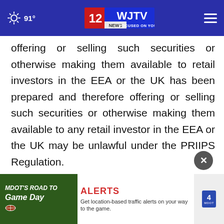91° | WJTV 12 News Focused on You
offering or selling such securities or otherwise making them available to retail investors in the EEA or the UK has been prepared and therefore offering or selling such securities or otherwise making them available to any retail investor in the EEA or the UK may be unlawful under the PRIIPS Regulation.
[Figure (screenshot): MDOT's Road to Game Day advertisement banner — Get location-based traffic alerts on your way to the game.]